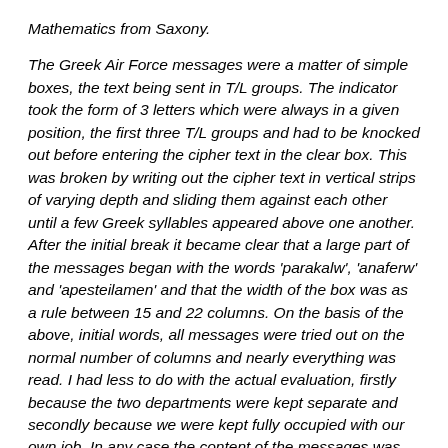Mathematics from Saxony.
The Greek Air Force messages were a matter of simple boxes, the text being sent in T/L groups. The indicator took the form of 3 letters which were always in a given position, the first three T/L groups and had to be knocked out before entering the cipher text in the clear box. This was broken by writing out the cipher text in vertical strips of varying depth and sliding them against each other until a few Greek syllables appeared above one another. After the initial break it became clear that a large part of the messages began with the words 'parakalw', 'anaferw' and 'apesteilamen' and that the width of the box was as a rule between 15 and 22 columns. On the basis of the above, initial words, all messages were tried out on the normal number of columns and nearly everything was read. I had less to do with the actual evaluation, firstly because the two departments were kept separate and secondly because we were kept fully occupied with our own job. In any case the content of the messages was usually of insignificant strategic value, although the continuous check on officer personalities, deliveries of stores and knowledge of airfields combined with